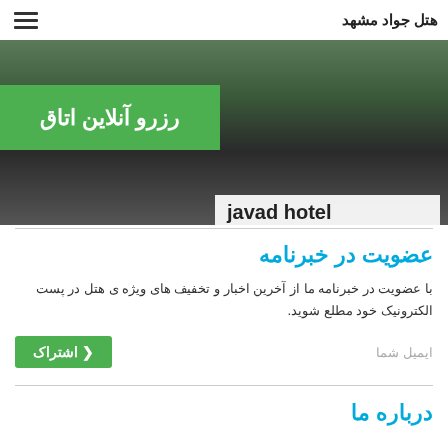هتل جواد مشهد
[Figure (photo): Banner photo of hotel exterior with trees and building facade]
رزرو آنلاین اتاق
javad hotel
عضویت در خبرنامه
با عضویت در خبرنامه ما از آخرین اخبار و تخفیف های ویژه ی هتل در پست الکترونیک خود مطلع شوید.
ایمیل شما
اشتراک ❮
درباره ما